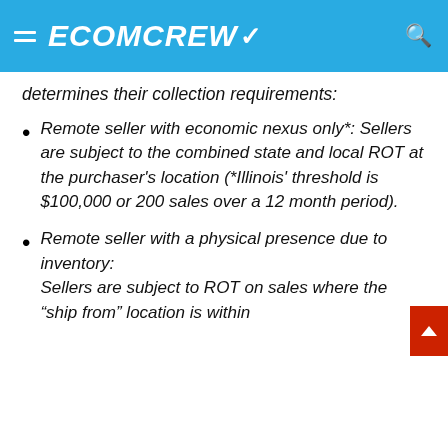ECOMCREW
determines their collection requirements:
Remote seller with economic nexus only*: Sellers are subject to the combined state and local ROT at the purchaser's location (*Illinois' threshold is $100,000 or 200 sales over a 12 month period).
Remote seller with a physical presence due to inventory: Sellers are subject to ROT on sales where the “ship from” location is within